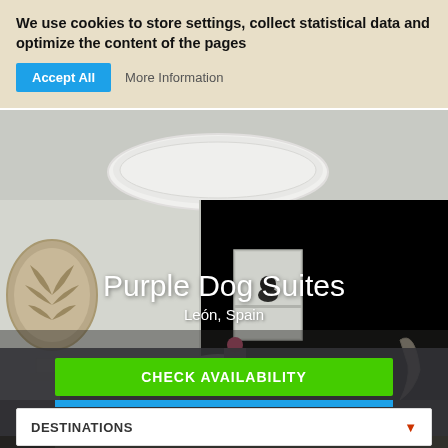We use cookies to store settings, collect statistical data and optimize the content of the pages
Accept All
More Information
[Figure (photo): Interior photo of Purple Dog Suites hotel room in León, Spain, showing a white-walled room with a large decorative ceiling light, ornate wall art, and a mantelpiece.]
Purple Dog Suites
León, Spain
CHECK AVAILABILITY
DESTINATIONS